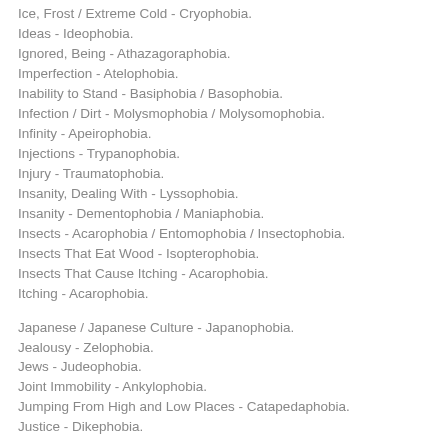Ice, Frost / Extreme Cold - Cryophobia.
Ideas - Ideophobia.
Ignored, Being - Athazagoraphobia.
Imperfection - Atelophobia.
Inability to Stand - Basiphobia / Basophobia.
Infection / Dirt - Molysmophobia / Molysomophobia.
Infinity - Apeirophobia.
Injections - Trypanophobia.
Injury - Traumatophobia.
Insanity, Dealing With - Lyssophobia.
Insanity - Dementophobia / Maniaphobia.
Insects - Acarophobia / Entomophobia / Insectophobia.
Insects That Eat Wood - Isopterophobia.
Insects That Cause Itching - Acarophobia.
Itching - Acarophobia.
Japanese / Japanese Culture - Japanophobia.
Jealousy - Zelophobia.
Jews - Judeophobia.
Joint Immobility - Ankylophobia.
Jumping From High and Low Places - Catapedaphobia.
Justice - Dikephobia.